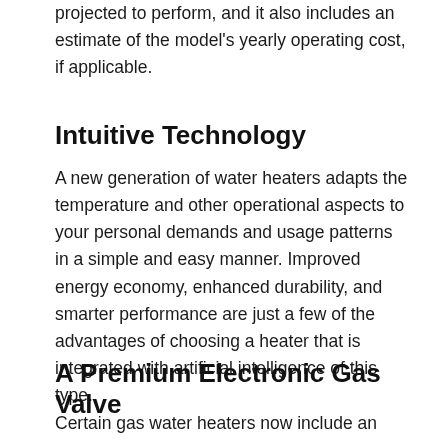projected to perform, and it also includes an estimate of the model's yearly operating cost, if applicable.
Intuitive Technology
A new generation of water heaters adapts the temperature and other operational aspects to your personal demands and usage patterns in a simple and easy manner. Improved energy economy, enhanced durability, and smarter performance are just a few of the advantages of choosing a heater that is integrated with artificial intelligence of this type.
A Premium Electronic Gas Valve
Certain gas water heaters now include an